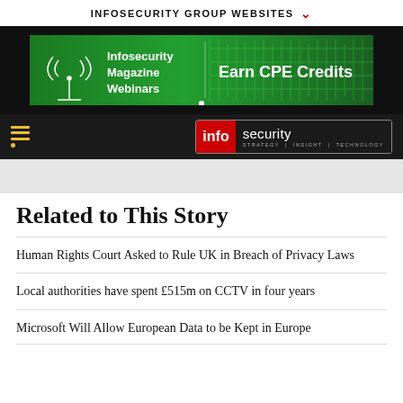INFOSECURITY GROUP WEBSITES
[Figure (infographic): Infosecurity Magazine Webinars ad banner with green circuit board background. Text reads: Infosecurity Magazine Webinars / Earn CPE Credits]
[Figure (logo): Infosecurity magazine logo: 'info' in red box, 'security' in dark box, tagline: STRATEGY | INSIGHT | TECHNOLOGY. Hamburger menu icon in yellow on left.]
Related to This Story
Human Rights Court Asked to Rule UK in Breach of Privacy Laws
Local authorities have spent £515m on CCTV in four years
Microsoft Will Allow European Data to be Kept in Europe